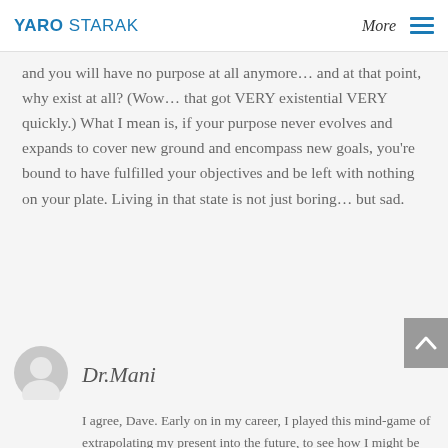YARO STARAK | More
and you will have no purpose at all anymore… and at that point, why exist at all? (Wow… that got VERY existential VERY quickly.) What I mean is, if your purpose never evolves and expands to cover new ground and encompass new goals, you're bound to have fulfilled your objectives and be left with nothing on your plate. Living in that state is not just boring… but sad.
Dr.Mani
I agree, Dave. Early on in my career, I played this mind-game of extrapolating my present into the future, to see how I might be some years from today. Each